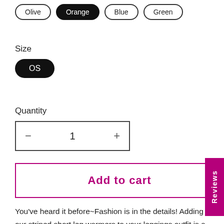Olive | Orange (selected) | Blue | Green
Size
OS
Quantity
− 1 +
Add to cart
Reviews
You've heard it before~Fashion is in the details! Adding our striped short leg warmers to your leggings outfit is a small detail that really completes your look. This leg warmer is a soft sweater knit with a gorgeous striped pattern. The most comfortable and stylish designer quality boot topper that everyone loves to wear. Leg warmers are perfect to wear with